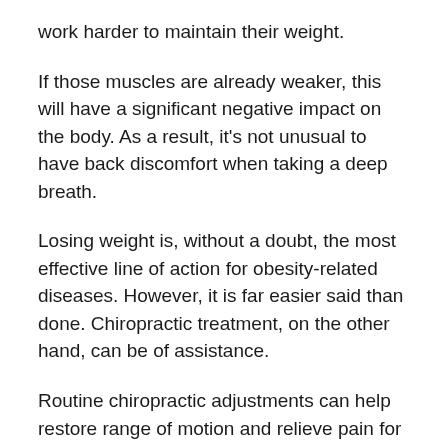work harder to maintain their weight.
If those muscles are already weaker, this will have a significant negative impact on the body. As a result, it's not unusual to have back discomfort when taking a deep breath.
Losing weight is, without a doubt, the most effective line of action for obesity-related diseases. However, it is far easier said than done. Chiropractic treatment, on the other hand, can be of assistance.
Routine chiropractic adjustments can help restore range of motion and relieve pain for those who have difficulty exercising because of pain in their backs or other areas of their bodies.
The process of losing weight becomes less difficult when